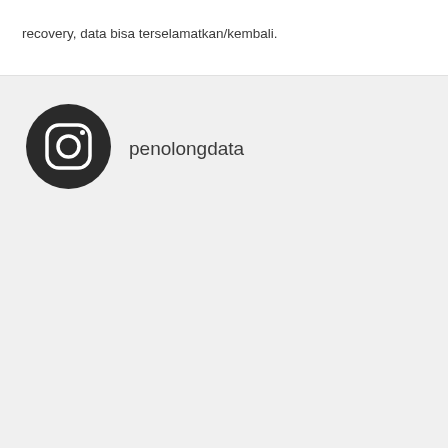recovery, data bisa terselamatkan/kembali.
[Figure (logo): Instagram logo icon — black circle with rounded-square camera outline and inner circle]
penolongdata